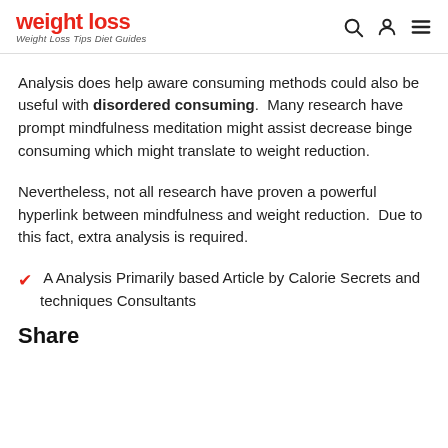weight loss — Weight Loss Tips Diet Guides
Analysis does help aware consuming methods could also be useful with disordered consuming. Many research have prompt mindfulness meditation might assist decrease binge consuming which might translate to weight reduction.
Nevertheless, not all research have proven a powerful hyperlink between mindfulness and weight reduction. Due to this fact, extra analysis is required.
A Analysis Primarily based Article by Calorie Secrets and techniques Consultants
Share